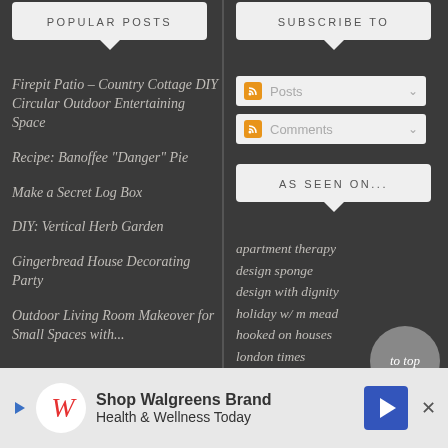POPULAR POSTS
Firepit Patio – Country Cottage DIY Circular Outdoor Entertaining Space
Recipe: Banoffee "Danger" Pie
Make a Secret Log Box
DIY: Vertical Herb Garden
Gingerbread House Decorating Party
Outdoor Living Room Makeover for Small Spaces with...
SUBSCRIBE TO
Posts
Comments
AS SEEN ON...
apartment therapy
design sponge
design with dignity
holiday w/ m mead
hooked on houses
london times
hostess with the mostess
to top
[Figure (infographic): Advertisement banner: Shop Walgreens Brand Health & Wellness Today with Walgreens logo, play icon, directional arrow icon, and close button]